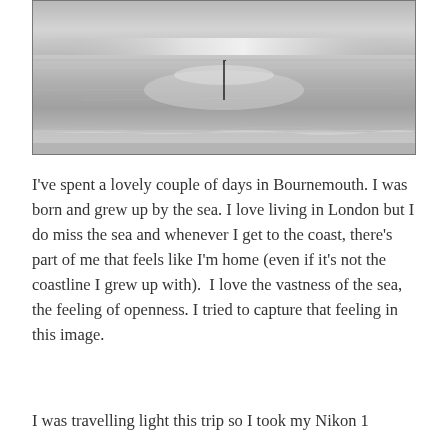[Figure (photo): Black and white photograph of a calm seascape showing a vast expanse of sea under a bright sky with a single vertical pole/post visible in the lower center of the image. Sandy beach visible at the bottom edge.]
I've spent a lovely couple of days in Bournemouth. I was born and grew up by the sea. I love living in London but I do miss the sea and whenever I get to the coast, there's part of me that feels like I'm home (even if it's not the coastline I grew up with).  I love the vastness of the sea, the feeling of openness. I tried to capture that feeling in this image.
I was travelling light this trip so I took my Nikon 1